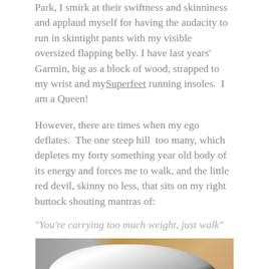Park, I smirk at their swiftness and skinniness and applaud myself for having the audacity to run in skintight pants with my visible oversized flapping belly. I have last years' Garmin, big as a block of wood, strapped to my wrist and my Superfeet running insoles.  I am a Queen!
However, there are times when my ego deflates.  The one steep hill  too many, which depletes my forty something year old body of its energy and forces me to walk, and the little red devil, skinny no less, that sits on my right buttock shouting mantras of:
“You’re carrying too much weight, just walk”
[Figure (photo): Photo of running shoes and white socks piled together, with a wicker basket visible in the background and a grey couch/surface on the left.]